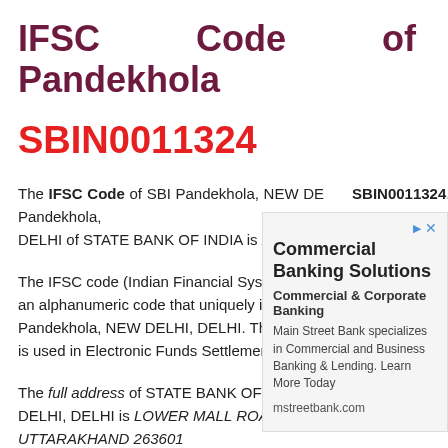IFSC Code of SBI Pandekhola
SBIN0011324
The IFSC Code of SBI Pandekhola, NEW DELHI is SBIN0011324. The MICR code of Pandekhola, NEW DELHI of STATE BANK OF INDIA is 263002997.
The IFSC code (Indian Financial System Code) is an alphanumeric code that uniquely identifies the branch Pandekhola, NEW DELHI, DELHI. The IFSC code is used in Electronic Funds Settlement Systems: RTGS
The full address of STATE BANK OF INDIA Pandekhola, NEW DELHI, DELHI is LOWER MALL ROAD, ALMORA, UTTARAKHAND 263601
SBI Pandekhola NEW